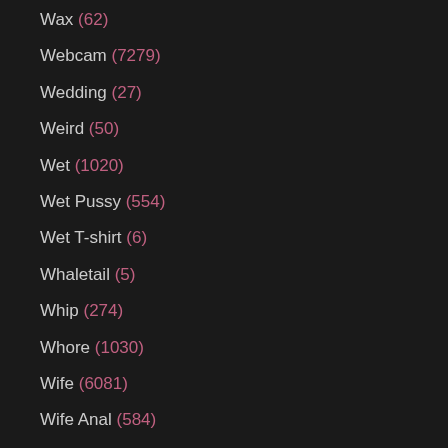Wax (62)
Webcam (7279)
Wedding (27)
Weird (50)
Wet (1020)
Wet Pussy (554)
Wet T-shirt (6)
Whaletail (5)
Whip (274)
Whore (1030)
Wife (6081)
Wife Anal (584)
Wife Blowjob (989)
Wife Gangbang (101)
Wife Handjob (102)